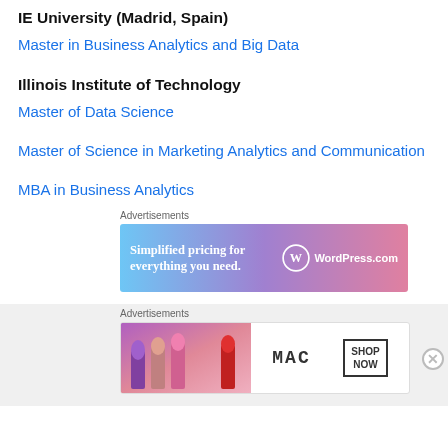IE University (Madrid, Spain)
Master in Business Analytics and Big Data
Illinois Institute of Technology
Master of Data Science
Master of Science in Marketing Analytics and Communication
MBA in Business Analytics
[Figure (illustration): Advertisement banner for WordPress.com with text 'Simplified pricing for everything you need.' on a blue-purple-pink gradient background with WordPress logo]
[Figure (illustration): Advertisement banner for MAC cosmetics showing lipsticks and 'SHOP NOW' button with MAC brand name]